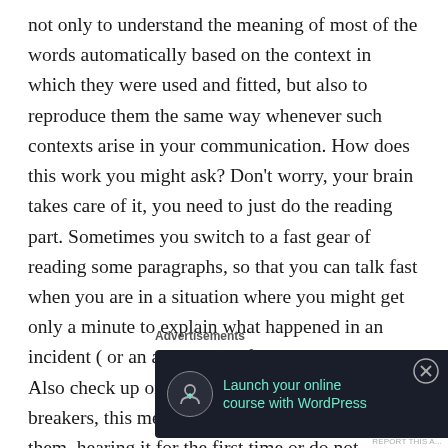not only to understand the meaning of most of the words automatically based on the context in which they were used and fitted, but also to reproduce them the same way whenever such contexts arise in your communication. How does this work you might ask? Don't worry, your brain takes care of it, you need to just do the reading part. Sometimes you switch to a fast gear of reading some paragraphs, so that you can talk fast when you are in a situation where you might get only a minute to explain what happened in an incident ( or an accident) before you pass out. Also check up on those words that acted as speed breakers, this means you are not confident on them, hearing it for the first time or do not understand their meaning. An online
Advertisements
[Figure (screenshot): Dark advertisement banner: 'Launch your online course with WordPress' with a Learn More button and a user/upload icon on the left.]